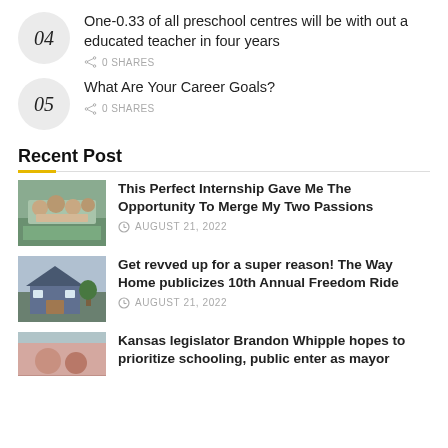04 — One-0.33 of all preschool centres will be with out a educated teacher in four years — 0 SHARES
05 — What Are Your Career Goals? — 0 SHARES
Recent Post
This Perfect Internship Gave Me The Opportunity To Merge My Two Passions — AUGUST 21, 2022
Get revved up for a super reason! The Way Home publicizes 10th Annual Freedom Ride — AUGUST 21, 2022
Kansas legislator Brandon Whipple hopes to prioritize schooling, public enter as mayor